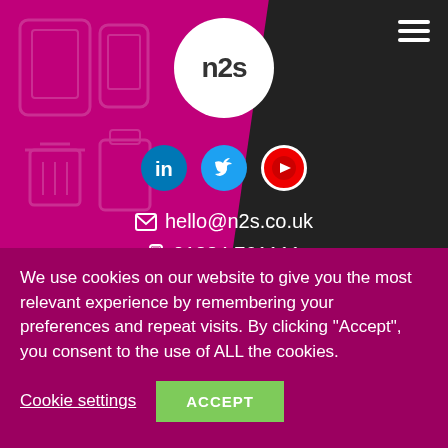[Figure (logo): n2s logo in white circle on magenta/dark split background with ghost device icons]
[Figure (infographic): Social media icons: LinkedIn (blue circle), Twitter (blue circle), YouTube (red circle with white icon)]
hello@n2s.co.uk
01284 761111
N2S Stock Exchange
We use cookies on our website to give you the most relevant experience by remembering your preferences and repeat visits. By clicking “Accept”, you consent to the use of ALL the cookies.
Cookie settings
ACCEPT